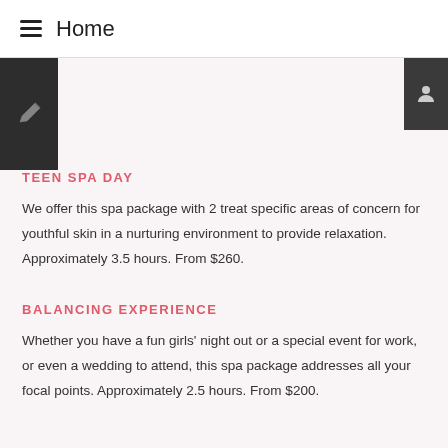Home
TEEN SPA DAY
We offer this spa package with 2 treat specific areas of concern for youthful skin in a nurturing environment to provide relaxation. Approximately 3.5 hours. From $260.
BALANCING EXPERIENCE
Whether you have a fun girls' night out or a special event for work, or even a wedding to attend, this spa package addresses all your focal points. Approximately 2.5 hours. From $200.